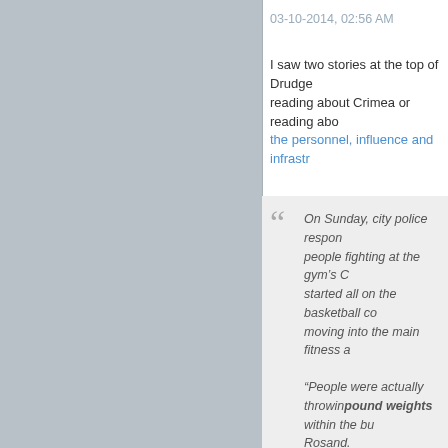03-10-2014, 02:56 AM
I saw two stories at the top of Drudge... reading about Crimea or reading about the personnel, influence and infrastructure...
On Sunday, city police responded to people fighting at the gym's C... started all on the basketball co... moving into the main fitness a...
“People were actually throwing... pound weights within the bui... Rosand.
[Figure (illustration): Three yellow pixel-art angry/frustrated face emoji in a row]
Absolutely disgraceful. If I got into a... 25-pound plates were found thrown,... immediately.
Truthseeker
tWebber
[Figure (illustration): Reputation bar with orange and gray segments]